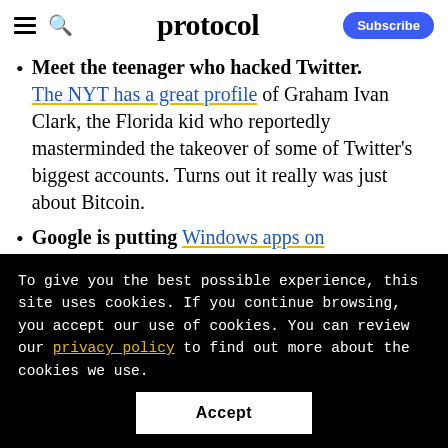protocol
Meet the teenager who hacked Twitter. The NYT has a great profile of Graham Ivan Clark, the Florida kid who reportedly masterminded the takeover of some of Twitter's biggest accounts. Turns out it really was just about Bitcoin.
Google is putting Windows apps on Chromebooks...
To give you the best possible experience, this site uses cookies. If you continue browsing, you accept our use of cookies. You can review our privacy policy to find out more about the cookies we use.
Accept